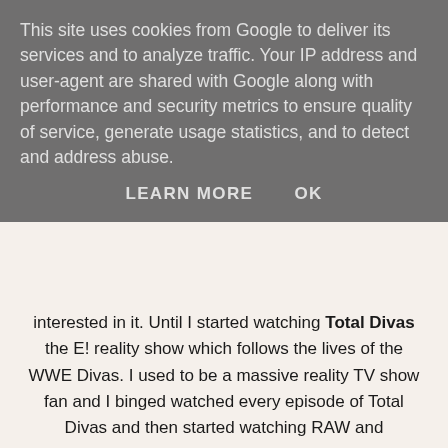This site uses cookies from Google to deliver its services and to analyze traffic. Your IP address and user-agent are shared with Google along with performance and security metrics to ensure quality of service, generate usage statistics, and to detect and address abuse.
LEARN MORE   OK
interested in it. Until I started watching Total Divas the E! reality show which follows the lives of the WWE Divas. I used to be a massive reality TV show fan and I binged watched every episode of Total Divas and then started watching RAW and Smackdown right before a Hell in a Cell PPV and I have been watching ever since, I have even been to see RAW live this year! It absolutely drives me up the wall when people say to me "Why do you watch WWE, its all fake". Yes and so is Eastenders yet you still watch it! Yes the storylines are scripted but the Superstars and Divas are some of the